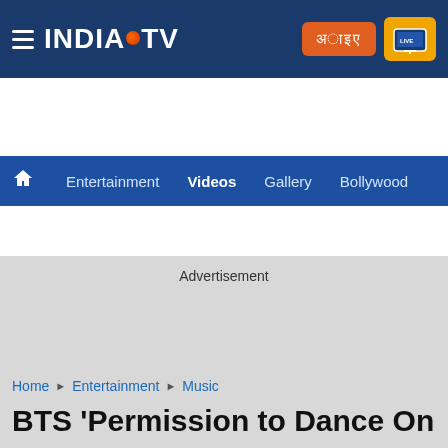[Figure (logo): India TV logo with hamburger menu on dark blue header bar, with Hindi button and Live TV button on right]
Entertainment  Videos  Gallery  Bollywood
Advertisement
Home ▶ Entertainment ▶ Music
BTS 'Permission to Dance On